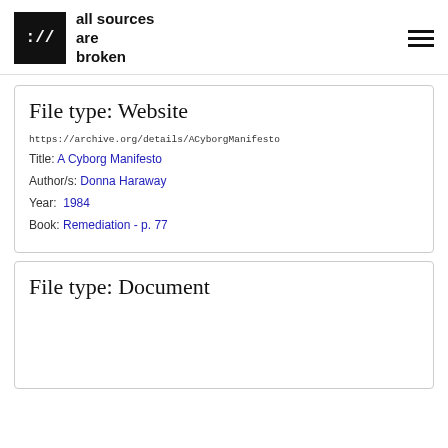:// all sources are broken
File type: Website
https://archive.org/details/ACyborgManifesto
Title: A Cyborg Manifesto
Author/s: Donna Haraway
Year: 1984
Book: Remediation - p. 77
File type: Document